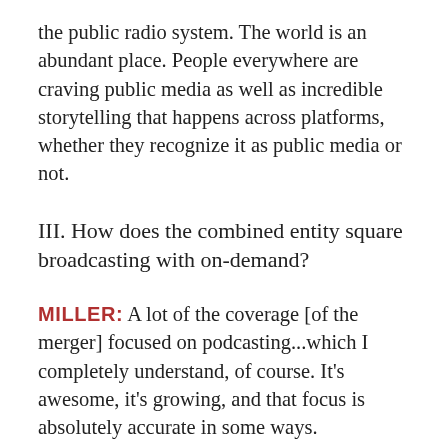the public radio system. The world is an abundant place. People everywhere are craving public media as well as incredible storytelling that happens across platforms, whether they recognize it as public media or not.
III. How does the combined entity square broadcasting with on-demand?
MILLER: A lot of the coverage [of the merger] focused on podcasting...which I completely understand, of course. It’s awesome, it’s growing, and that focus is absolutely accurate in some ways.
But I would also say that broadcast, still, is very